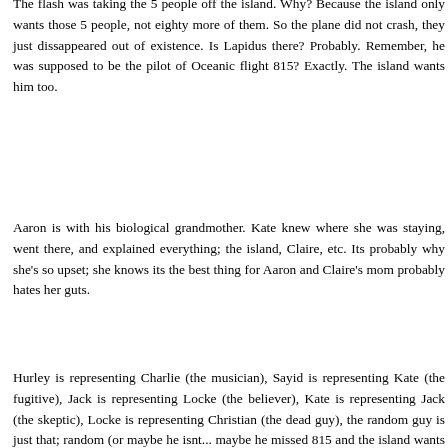The flash was taking the 5 people off the island. Why? Because the island only wants those 5 people, not eighty more of them. So the plane did not crash, they just dissappeared out of existence. Is Lapidus there? Probably. Remember, he was supposed to be the pilot of Oceanic flight 815? Exactly. The island wants him too.
Aaron is with his biological grandmother. Kate knew where she was staying, went there, and explained everything; the island, Claire, etc. Its probably why she's so upset; she knows its the best thing for Aaron and Claire's mom probably hates her guts.
Hurley is representing Charlie (the musician), Sayid is representing Kate (the fugitive), Jack is representing Locke (the believer), Kate is representing Jack (the skeptic), Locke is representing Christian (the dead guy), the random guy is just that; random (or maybe he isnt... maybe he missed 815 and the island wants him too?) and sun is representing herself. probably not.
I think that the flashes stopped after Locke left, there would have to be time to infiltrate the DHARMA initiative, and the